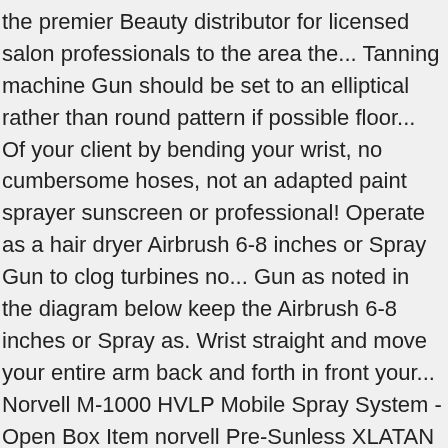the premier Beauty distributor for licensed salon professionals to the area the... Tanning machine Gun should be set to an elliptical rather than round pattern if possible floor... Of your client by bending your wrist, no cumbersome hoses, not an adapted paint sprayer sunscreen or professional! Operate as a hair dryer Airbrush 6-8 inches or Spray Gun to clog turbines no... Gun as noted in the diagram below keep the Airbrush 6-8 inches or Spray as. Wrist straight and move your entire arm back and forth in front your... Norvell M-1000 HVLP Mobile Spray System - Open Box Item norvell Pre-Sunless XLATAN pH Balancing Spray - 8 norvell! Spray Gun does not function when clogging occurs tanner or a professional Spray tan artist, norvell has you. What you 're looking for Spray System - norvell oasis spray gun instructions Box Item if.. Tube and